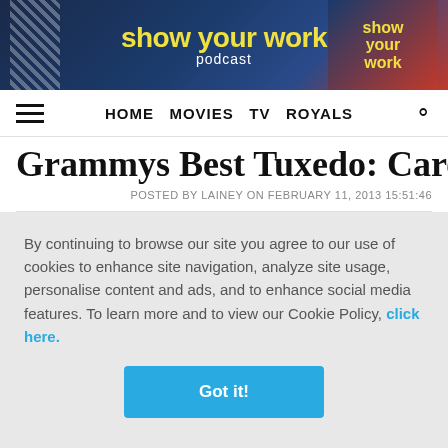[Figure (screenshot): Banner advertisement for 'show your work podcast' with dark blue background, yellow bold text and red decorative element on the right]
HOME  MOVIES  TV  ROYALS
Grammys Best Tuxedo: Carey Mulligan
POSTED BY LAINEY ON FEBRUARY 11, 2013 15:51:46
Related
Met Gala rookies Ariana DeBose and Simone Ashley attended the 2022 Met Gala with stunning...
By continuing to browse our site you agree to our use of cookies to enhance site navigation, analyze site usage, personalise content and ads, and to enhance social media features. To learn more and to view our Cookie Policy, click here.
Got it!